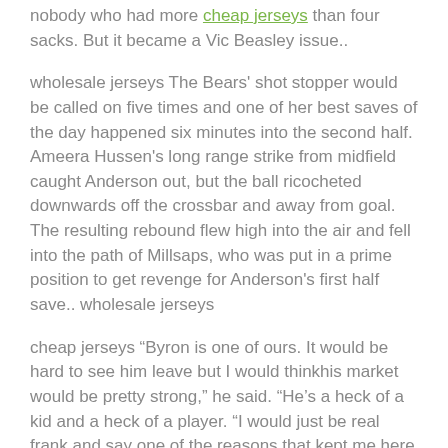nobody who had more cheap jerseys than four sacks. But it became a Vic Beasley issue..
wholesale jerseys The Bears' shot stopper would be called on five times and one of her best saves of the day happened six minutes into the second half. Ameera Hussen's long range strike from midfield caught Anderson out, but the ball ricocheted downwards off the crossbar and away from goal. The resulting rebound flew high into the air and fell into the path of Millsaps, who was put in a prime position to get revenge for Anderson's first half save.. wholesale jerseys
cheap jerseys “Byron is one of ours. It would be hard to see him leave but I would thinkhis market would be pretty strong," he said. "He's a heck of a kid and a heck of a player. "I would just be real frank and say one of the reasons that kept me here was one of ours." Shurmur told...